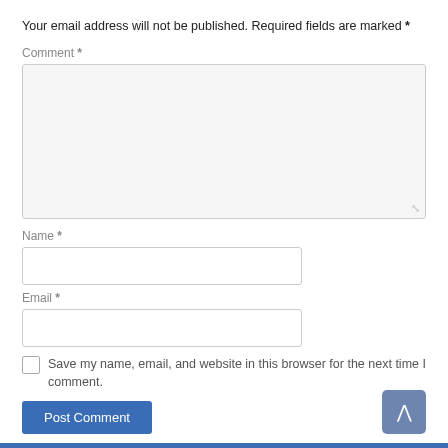Your email address will not be published. Required fields are marked *
Comment *
Name *
Email *
Save my name, email, and website in this browser for the next time I comment.
Post Comment